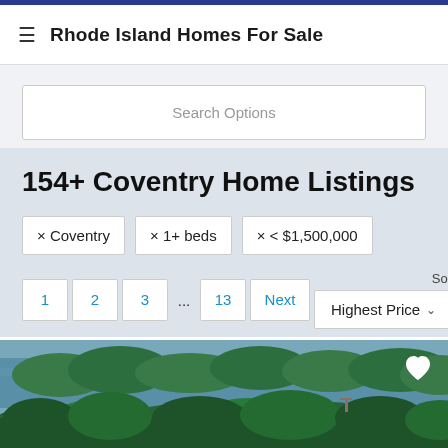Rhode Island Homes For Sale
Search Options
154+ Coventry Home Listings
× Coventry
× 1+ beds
× < $1,500,000
1  2  3  ...  13  Next   Sort By: Highest Price
[Figure (photo): Aerial view of a lake surrounded by green trees and forested shoreline, with a heart/favorite icon in the upper right corner]